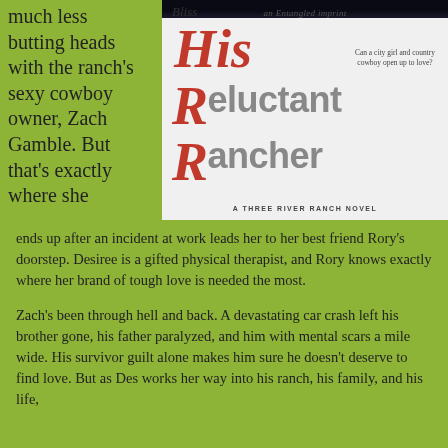much less butting heads with the ranch's sexy cowboy owner, Zach Gamble. But that's exactly where she
[Figure (photo): Book cover of 'His Reluctant Rancher' - A Three River Ranch Novel, Bliss imprint. Red script lettering for His, Reluctant Rancher in gray block letters. Tagline: Can a city girl and country cowboy open up to love?]
ends up after an incident at work leads her to her best friend Rory's doorstep. Desiree is a gifted physical therapist, and Rory knows exactly where her brand of tough love is needed the most.

Zach's been through hell and back. A devastating car crash left his brother gone, his father paralyzed, and him with mental scars a mile wide. His survivor guilt alone makes him sure he doesn't deserve to find love. But as Des works her way into his ranch, his family, and his life,